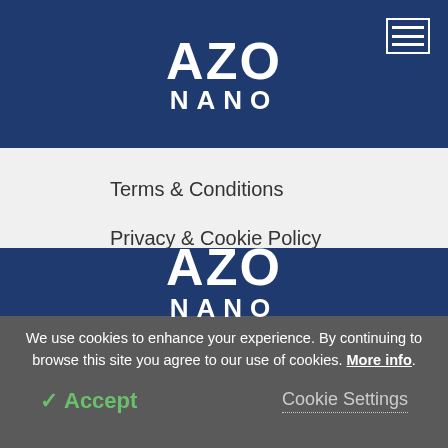AZO NANO
Terms & Conditions
Privacy & Cookie Policy
Sitemap
back to top ^
[Figure (logo): AZO NANO logo in white on dark blue background]
We use cookies to enhance your experience. By continuing to browse this site you agree to our use of cookies. More info.
✓ Accept
Cookie Settings